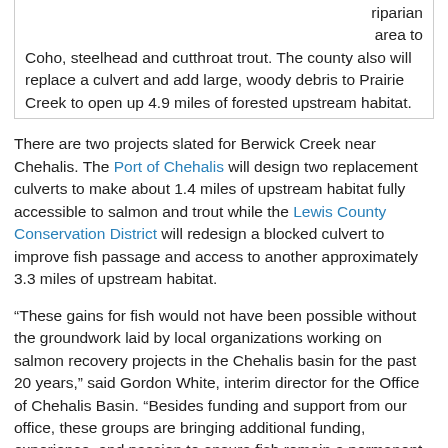riparian area to Coho, steelhead and cutthroat trout. The county also will replace a culvert and add large, woody debris to Prairie Creek to open up 4.9 miles of forested upstream habitat.
There are two projects slated for Berwick Creek near Chehalis. The Port of Chehalis will design two replacement culverts to make about 1.4 miles of upstream habitat fully accessible to salmon and trout while the Lewis County Conservation District will redesign a blocked culvert to improve fish passage and access to another approximately 3.3 miles of upstream habitat.
“These gains for fish would not have been possible without the groundwork laid by local organizations working on salmon recovery projects in the Chehalis basin for the past 20 years,” said Gordon White, interim director for the Office of Chehalis Basin. “Besides funding and support from our office, these groups are bringing additional funding, experience, and passion to ensure fish remain a permanent part of the basin landscape.”